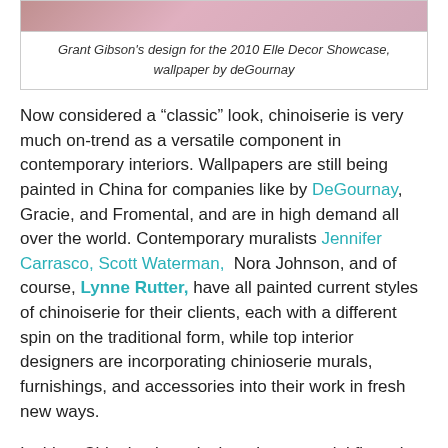[Figure (photo): Top portion of an image showing Grant Gibson's design for the 2010 Elle Decor Showcase with wallpaper by deGournay]
Grant Gibson's design for the 2010 Elle Decor Showcase, wallpaper by deGournay
Now considered a “classic” look, chinoiserie is very much on-trend as a versatile component in contemporary interiors. Wallpapers are still being painted in China for companies like by DeGournay, Gracie, and Fromental, and are in high demand all over the world. Contemporary muralists Jennifer Carrasco, Scott Waterman, Nora Johnson, and of course, Lynne Rutter, have all painted current styles of chinoiserie for their clients, each with a different spin on the traditional form, while top interior designers are incorporating chinioserie murals, furnishings, and accessories into their work in fresh new ways.
Is this a Chinoiserie revival, or the perennial flowering of an immortal style?
Further Reading: